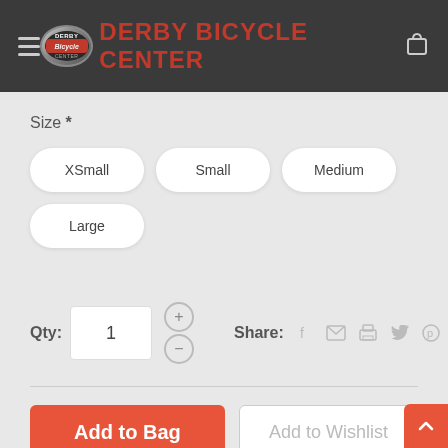Derby Bicycle Center
Size *
XSmall
Small
Medium
Large
Qty: 1
Share:
Add to Bag
Add to Wishlist